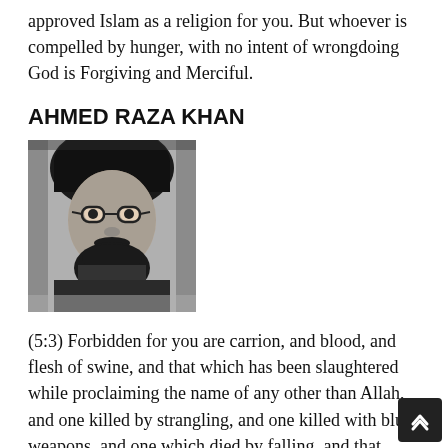approved Islam as a religion for you. But whoever is compelled by hunger, with no intent of wrongdoing⁠God is Forgiving and Merciful.
AHMED RAZA KHAN
[Figure (photo): Black and white portrait photograph of Ahmed Raza Khan, a bearded man wearing glasses and a dark turban.]
(5:3) Forbidden for you are carrion, and blood, and flesh of swine, and that which has been slaughtered while proclaiming the name of any other than Allah, and one killed by strangling, and one killed with blunt weapons, and one which died by falling, and that which was gored by the horns of some animal, and one eaten by a wild beast, except those whom you slaughtered and (also forbidden is) that which is slaughtered